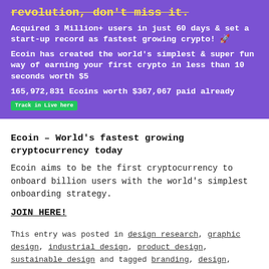[Figure (infographic): Purple banner advertisement for Ecoin cryptocurrency. Contains yellow strikethrough title text 'revolution, don't miss it.', bold white text about acquiring 3 Million+ users in 60 days and being fastest growing crypto with rocket emoji, description of earning first crypto in less than 10 seconds worth $5, and a line showing 165,972,831 Ecoins worth $367,067 paid already with a green 'Track in Live here' button.]
Ecoin – World's fastest growing cryptocurrency today
Ecoin aims to be the first cryptocurrency to onboard billion users with the world's simplest onboarding strategy.
JOIN HERE!
This entry was posted in design research, graphic design, industrial design, product design, sustainable design and tagged branding, design, diversity, graphic design, inclusion, industrial design, innovation, Linkedin, networking, packaging design, product design, sustainability